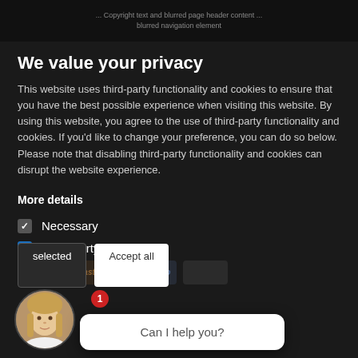... blurred website header text ...
We value your privacy
This website uses third-party functionality and cookies to ensure that you have the best possible experience when visiting this website. By using this website, you agree to the use of third-party functionality and cookies. If you'd like to change your preference, you can do so below. Please note that disabling third-party functionality and cookies can disrupt the website experience.
More details
Necessary
Third-party cookies
[Figure (screenshot): Cookie consent dialog overlay on a dark website with payment logos, avatar chatbot, and accept/selected buttons.]
Can I help you?